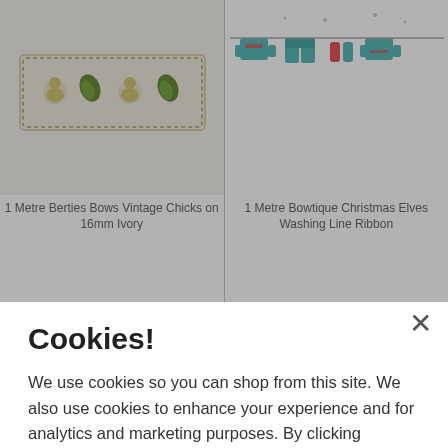[Figure (photo): Left product card showing Berties Bows Vintage Chicks ribbon on cream/ivory background]
1 Metre Berties Bows Vintage Chicks on 16mm Ivory
[Figure (photo): Right product card showing Bowtique Christmas Elves Washing Line Ribbon with colorful elves clothing pattern]
1 Metre Bowtique Christmas Elves Washing Line Ribbon
Cookies!
We use cookies so you can shop from this site. We also use cookies to enhance your experience and for analytics and marketing purposes. By clicking "Accept" below, you are agreeing to these cookies. To find out more about our cookies please click here.
ACCEPT
DECLINE